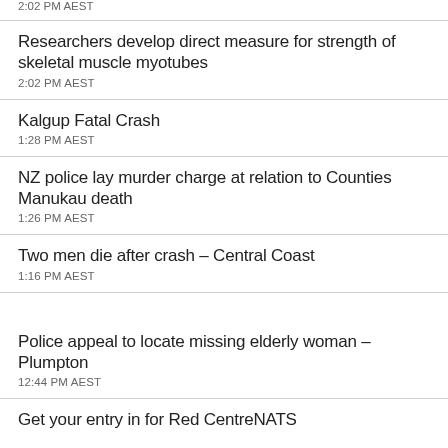2:02 PM AEST
Researchers develop direct measure for strength of skeletal muscle myotubes
2:02 PM AEST
Kalgup Fatal Crash
1:28 PM AEST
NZ police lay murder charge at relation to Counties Manukau death
1:26 PM AEST
Two men die after crash – Central Coast
1:16 PM AEST
Police appeal to locate missing elderly woman – Plumpton
12:44 PM AEST
Get your entry in for Red CentreNATS